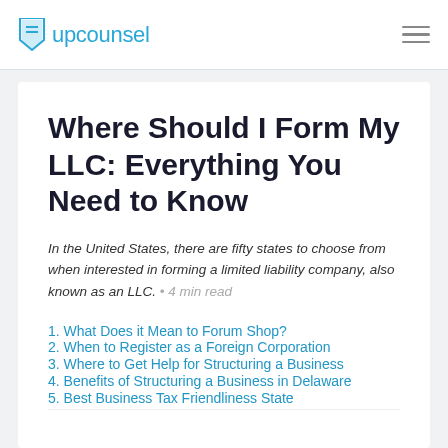upcounsel
Where Should I Form My LLC: Everything You Need to Know
In the United States, there are fifty states to choose from when interested in forming a limited liability company, also known as an LLC. • 4 min read
1. What Does it Mean to Forum Shop?
2. When to Register as a Foreign Corporation
3. Where to Get Help for Structuring a Business
4. Benefits of Structuring a Business in Delaware
5. Best Business Tax Friendliness State